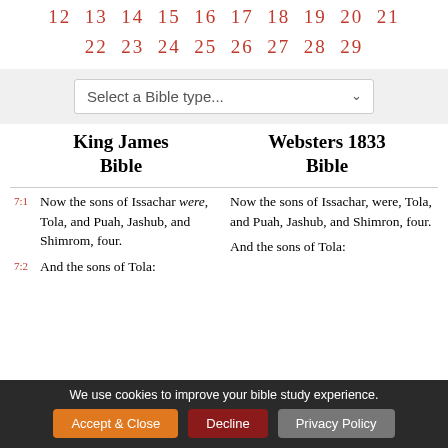12 13 14 15 16 17 18 19 20 21 22 23 24 25 26 27 28 29
[Figure (screenshot): Dropdown selector for Bible type with placeholder text 'Select a Bible type...']
King James Bible | Websters 1833 Bible
7:1 Now the sons of Issachar were, Tola, and Puah, Jashub, and Shimrom, four. | Now the sons of Issachar, were, Tola, and Puah, Jashub, and Shimron, four.
7:2 And the sons of Tola: | And the sons of Tola:
We use cookies to improve your bible study experience. Accept & Close | Decline | Privacy Policy